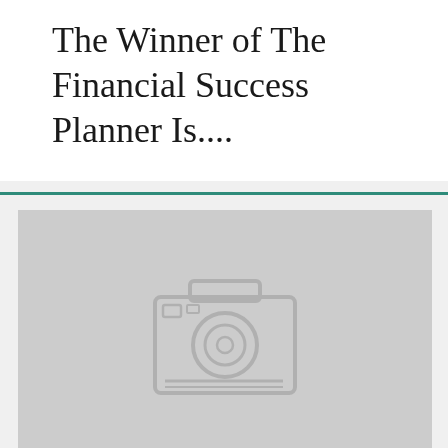The Winner of The Financial Success Planner Is....
[Figure (photo): Placeholder image with camera icon on gray background]